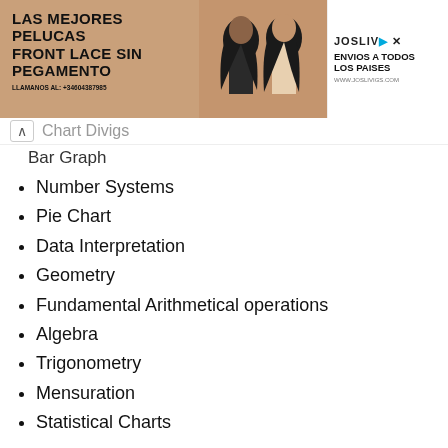[Figure (photo): Advertisement banner for JosLiv wigs featuring two women models, with text 'Las mejores pelucas front lace sin pegamento' and 'Envios a todos los paises']
Chart Divigs
Bar Graph
Number Systems
Pie Chart
Data Interpretation
Geometry
Fundamental Arithmetical operations
Algebra
Trigonometry
Mensuration
Statistical Charts
Reasoning
Problem Solving
Syllogistic Reasoning